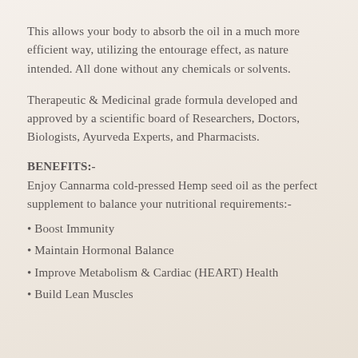This allows your body to absorb the oil in a much more efficient way, utilizing the entourage effect, as nature intended. All done without any chemicals or solvents.
Therapeutic & Medicinal grade formula developed and approved by a scientific board of Researchers, Doctors, Biologists, Ayurveda Experts, and Pharmacists.
BENEFITS:-
Enjoy Cannarma cold-pressed Hemp seed oil as the perfect supplement to balance your nutritional requirements:-
Boost Immunity
Maintain Hormonal Balance
Improve Metabolism & Cardiac (HEART) Health
Build Lean Muscles